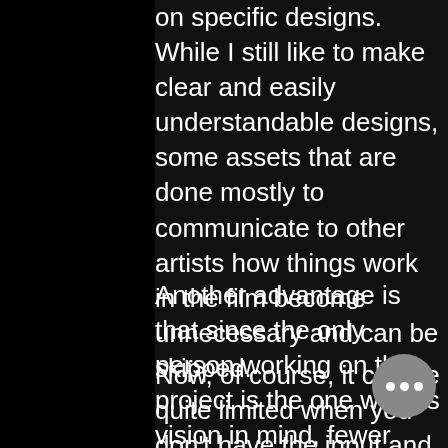on specific designs. While I still like to make clear and easily understandable designs, some assets that are done mostly to communicate to other artists how things work in the film become unnecessary and can be skipped.
Another advantage is that since the only person working on the project is the one with its vision in mind, fewer iterations are necessary and misinterpretations are a lot harder to happen.
Now, of course, it can be quite limited when you don't have the input and ideas from other creative minds, and it's still a lot more work to do even